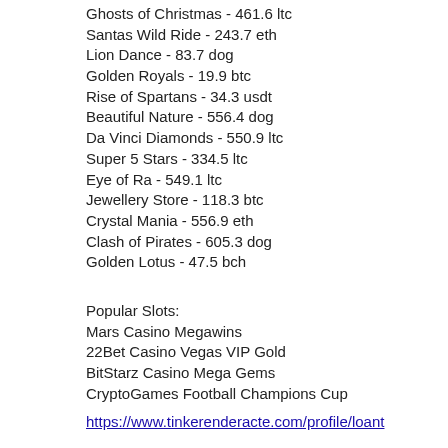Ghosts of Christmas - 461.6 ltc
Santas Wild Ride - 243.7 eth
Lion Dance - 83.7 dog
Golden Royals - 19.9 btc
Rise of Spartans - 34.3 usdt
Beautiful Nature - 556.4 dog
Da Vinci Diamonds - 550.9 ltc
Super 5 Stars - 334.5 ltc
Eye of Ra - 549.1 ltc
Jewellery Store - 118.3 btc
Crystal Mania - 556.9 eth
Clash of Pirates - 605.3 dog
Golden Lotus - 47.5 bch
Popular Slots:
Mars Casino Megawins
22Bet Casino Vegas VIP Gold
BitStarz Casino Mega Gems
CryptoGames Football Champions Cup
https://www.tinkerenderacte.com/profile/loant